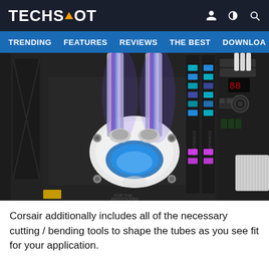TECHSPOT
TRENDING   FEATURES   REVIEWS   THE BEST   DOWNLOA
[Figure (photo): Close-up photo of a custom water cooling loop installed on a PC motherboard. A white CPU water block with glowing blue/purple liquid is visible in the center, with two transparent tubes rising upward filled with illuminated blue coolant. RGB-lit DDR5 RAM sticks labeled DOMINATOR are visible on the right, alongside a dark motherboard with various components and connectors.]
Corsair additionally includes all of the necessary cutting / bending tools to shape the tubes as you see fit for your application.